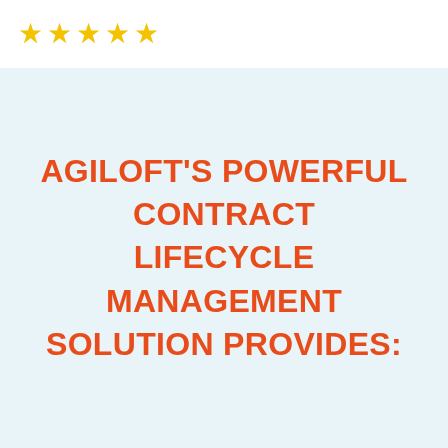[Figure (illustration): Five gold stars arranged horizontally at the top left of the page on a white background]
AGILOFT'S POWERFUL CONTRACT LIFECYCLE MANAGEMENT SOLUTION PROVIDES: